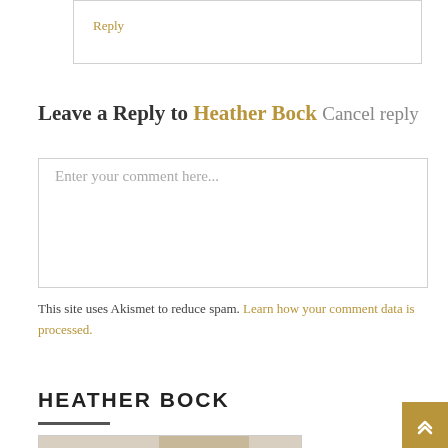Reply
Leave a Reply to Heather Bock Cancel reply
Enter your comment here...
This site uses Akismet to reduce spam. Learn how your comment data is processed.
HEATHER BOCK
[Figure (photo): Black and white photo of Heather Bock, showing top of head with dark hair]